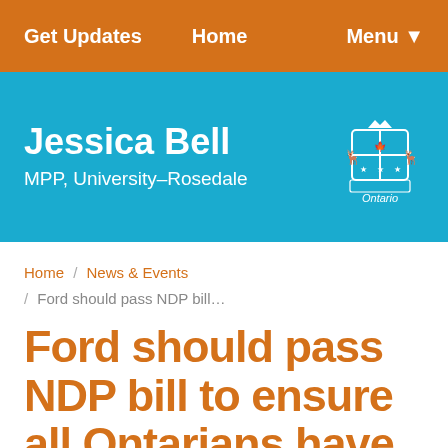Get Updates  Home  Menu
Jessica Bell
MPP, University–Rosedale
Home / News & Events / Ford should pass NDP bill…
Ford should pass NDP bill to ensure all Ontarians have